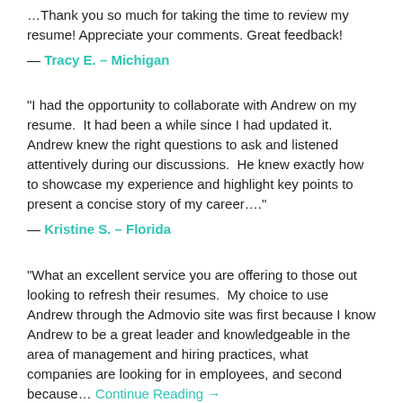Thank you so much for taking the time to review my resume! Appreciate your comments. Great feedback!
— Tracy E. – Michigan
"I had the opportunity to collaborate with Andrew on my resume.  It had been a while since I had updated it.  Andrew knew the right questions to ask and listened attentively during our discussions.  He knew exactly how to showcase my experience and highlight key points to present a concise story of my career...."
— Kristine S. – Florida
"What an excellent service you are offering to those out looking to refresh their resumes.  My choice to use Andrew through the Admovio site was first because I know Andrew to be a great leader and knowledgeable in the area of management and hiring practices, what companies are looking for in employees, and second because… Continue Reading →